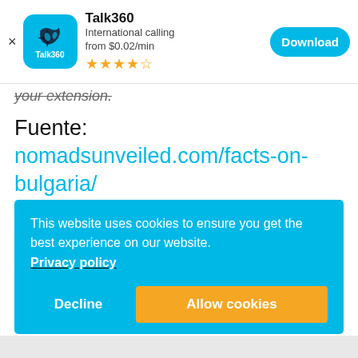[Figure (screenshot): Talk360 app advertisement banner with logo, title, subtitle, star rating, and Download button]
your extension.
Fuente: nomadsunveiled.com/facts-on-bulgaria/
This website uses cookies to ensure you get the best experience on our website. Privacy policy
Decline
Allow cookies